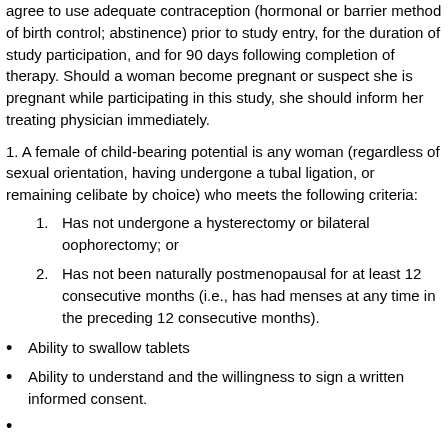agree to use adequate contraception (hormonal or barrier method of birth control; abstinence) prior to study entry, for the duration of study participation, and for 90 days following completion of therapy. Should a woman become pregnant or suspect she is pregnant while participating in this study, she should inform her treating physician immediately.
1. A female of child-bearing potential is any woman (regardless of sexual orientation, having undergone a tubal ligation, or remaining celibate by choice) who meets the following criteria:
1. Has not undergone a hysterectomy or bilateral oophorectomy; or
2. Has not been naturally postmenopausal for at least 12 consecutive months (i.e., has had menses at any time in the preceding 12 consecutive months).
Ability to swallow tablets
Ability to understand and the willingness to sign a written informed consent.
(partial, cut off at bottom)